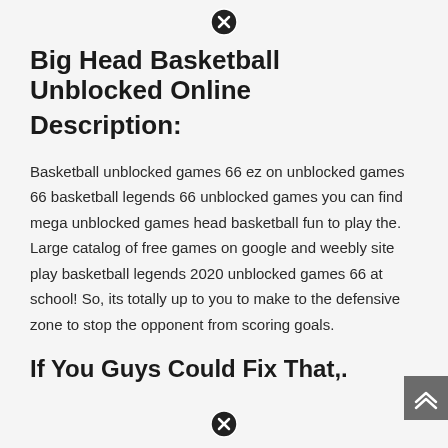[Figure (other): Close/cancel button icon (circle with X) at top center]
Big Head Basketball Unblocked Online
Description:
Basketball unblocked games 66 ez on unblocked games 66 basketball legends 66 unblocked games you can find mega unblocked games head basketball fun to play the. Large catalog of free games on google and weebly site play basketball legends 2020 unblocked games 66 at school! So, its totally up to you to make to the defensive zone to stop the opponent from scoring goals.
If You Guys Could Fix That,.
[Figure (other): Close/cancel button icon (circle with X) at bottom center]
[Figure (other): Scroll-to-top double chevron button at bottom right]